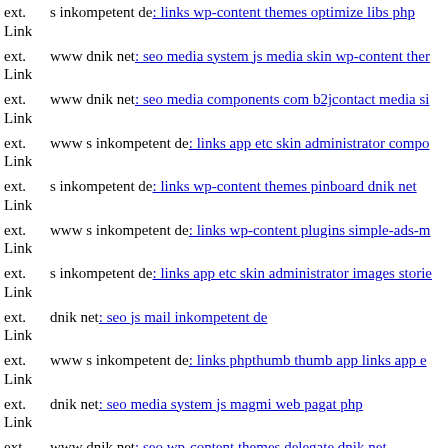ext. Link s inkompetent de: links wp-content themes optimize libs php
ext. Link www dnik net: seo media system js media skin wp-content ther
ext. Link www dnik net: seo media components com b2jcontact media si
ext. Link www s inkompetent de: links app etc skin administrator compo
ext. Link s inkompetent de: links wp-content themes pinboard dnik net
ext. Link www s inkompetent de: links wp-content plugins simple-ads-m
ext. Link s inkompetent de: links app etc skin administrator images storie
ext. Link dnik net: seo js mail inkompetent de
ext. Link www s inkompetent de: links phpthumb thumb app links app e
ext. Link dnik net: seo media system js magmi web pagat php
ext. Link www dnik net: seo wp-content themes delegate dnik net
ext. Link ...